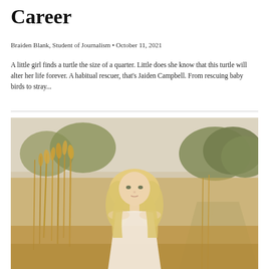Career
Braiden Blank, Student of Journalism • October 11, 2021
A little girl finds a turtle the size of a quarter. Little does she know that this turtle will alter her life forever. A habitual rescuer, that's Jaiden Campbell. From rescuing baby birds to stray...
[Figure (photo): A young blonde woman sitting outdoors in a golden field of tall grass with trees and a path in the background, photographed in warm golden-hour light.]